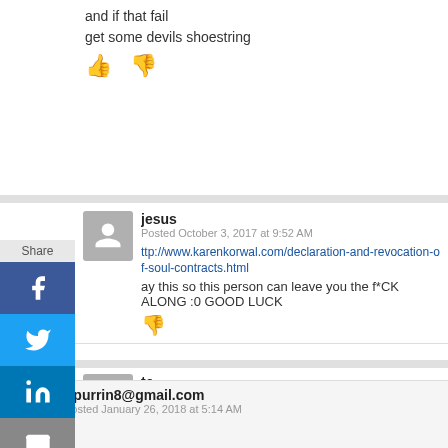and if that fail
get some devils shoestring
jesus
Posted October 3, 2017 at 9:52 AM
http://www.karenkorwal.com/declaration-and-revocation-of-soul-contracts.html
ay this so this person can leave you the f*CK ALONG :0 GOOD LUCK
te
Posted January 5, 2018 at 4:47 AM
his isnt even a legend
Spurrin8@gmail.com
Posted January 26, 2018 at 5:14 AM